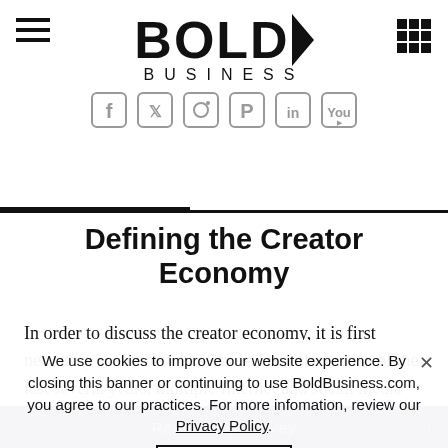BOLD BUSINESS
Defining the Creator Economy
In order to discuss the creator economy, it is first necessary to divine what that is. Over the course of the last several years, multiple Internet and social media platforms have become more sophisticated. However, these platforms rely upon creative content. But overtime it became increasingly evident that creators and influencers demanded more...
We use cookies to improve our website experience. By closing this banner or continuing to use BoldBusiness.com, you agree to our practices. For more infomation, review our Privacy Policy.
ACCEPT
Readership Survey